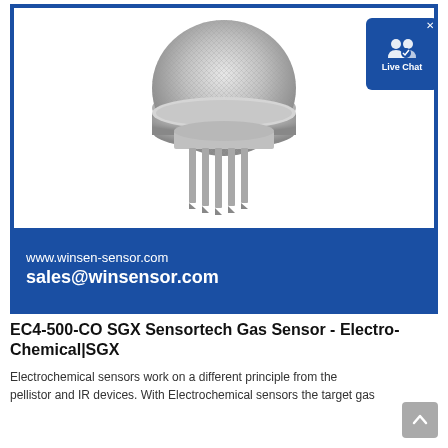[Figure (photo): EC4-500-CO SGX Sensortech electrochemical gas sensor with metal mesh cap and 6 pins, on white background, inside a blue-bordered product box with contact info (www.winsen-sensor.com, sales@winsensor.com) and CE, RoHS, ISO 9001:2008 certification badges]
EC4-500-CO SGX Sensortech Gas Sensor - Electro-Chemical|SGX
Electrochemical sensors work on a different principle from the pellistor and IR devices. With Electrochemical sensors the target gas